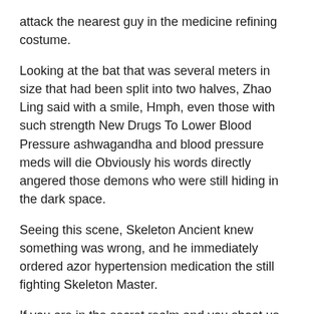attack the nearest guy in the medicine refining costume.
Looking at the bat that was several meters in size that had been split into two halves, Zhao Ling said with a smile, Hmph, even those with such strength New Drugs To Lower Blood Pressure ashwagandha and blood pressure meds will die Obviously his words directly angered those demons who were still hiding in the dark space.
Seeing this scene, Skeleton Ancient knew something was wrong, and he immediately ordered azor hypertension medication the still fighting Skeleton Master.
If you are in the secret realm and you shoot us, then We will not scruple any treasure at all, we will kill you together first, and then we will find a way to recover the loss Zhao Ling is not dead, no matter how hard they try, pre hypertension vs hypertension they may not be able to get the baby back.